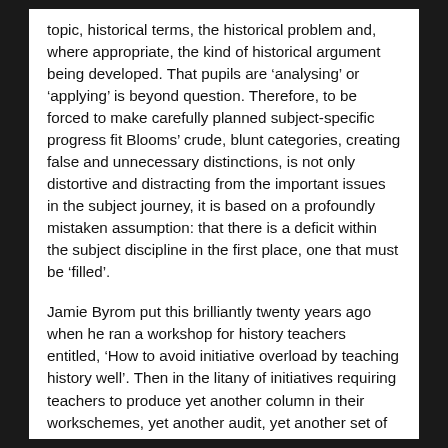topic, historical terms, the historical problem and, where appropriate, the kind of historical argument being developed. That pupils are 'analysing' or 'applying' is beyond question. Therefore, to be forced to make carefully planned subject-specific progress fit Blooms' crude, blunt categories, creating false and unnecessary distinctions, is not only distortive and distracting from the important issues in the subject journey, it is based on a profoundly mistaken assumption: that there is a deficit within the subject discipline in the first place, one that must be 'filled'.
Jamie Byrom put this brilliantly twenty years ago when he ran a workshop for history teachers entitled, 'How to avoid initiative overload by teaching history well'. Then in the litany of initiatives requiring teachers to produce yet another column in their workschemes, yet another audit, yet another set of extraneous objectives or principles that teachers had to render explicit in their opening remarks, it was 'thinking skills'. Later it was PLTS, Learning to Learn, SEAL... Now it is Blooms.